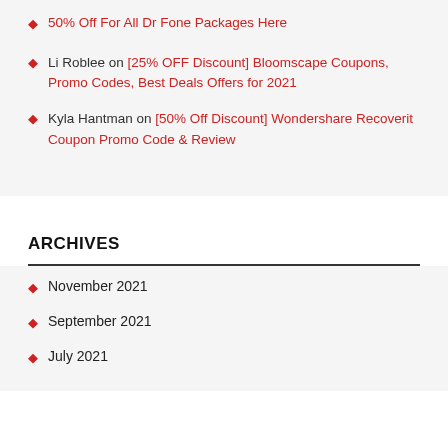50% Off For All Dr Fone Packages Here
Li Roblee on [25% OFF Discount] Bloomscape Coupons, Promo Codes, Best Deals Offers for 2021
Kyla Hantman on [50% Off Discount] Wondershare Recoverit Coupon Promo Code & Review
ARCHIVES
November 2021
September 2021
July 2021